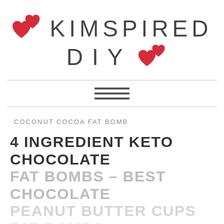[Figure (logo): Kimspired DIY logo with two red hearts and the text KIMSPIRED DIY]
[Figure (other): Hamburger menu icon (three horizontal bars)]
COCONUT COCOA FAT BOMB
4 INGREDIENT KETO CHOCOLATE FAT BOMBS – BEST CHOCOLATE PEANUT BUTTER CUPS FAT BOMBS